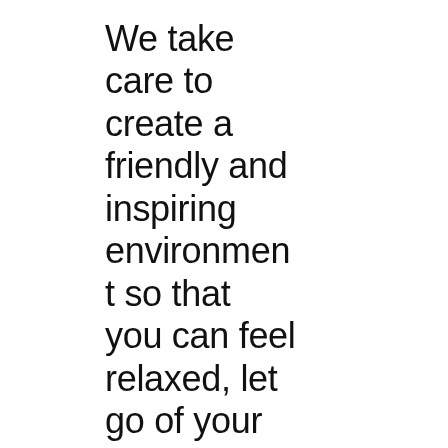We take care to create a friendly and inspiring environment so that you can feel relaxed, let go of your stress and focus on